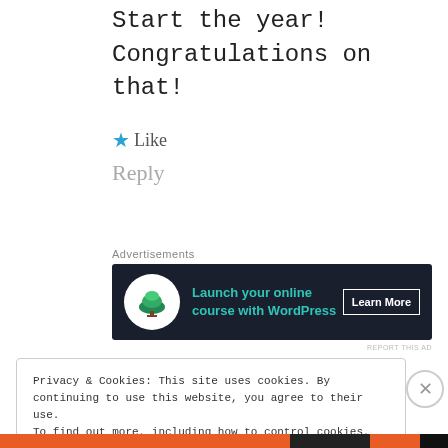Start the year! Congratulations on that!
★ Like
Reply
Advertisements
[Figure (illustration): Dark advertisement banner: 'Launch your online course with WordPress' with a bonsai tree icon and 'Learn More' button]
REPORT THIS AD
Privacy & Cookies: This site uses cookies. By continuing to use this website, you agree to their use.
To find out more, including how to control cookies, see here: Cookie Policy
Close and accept